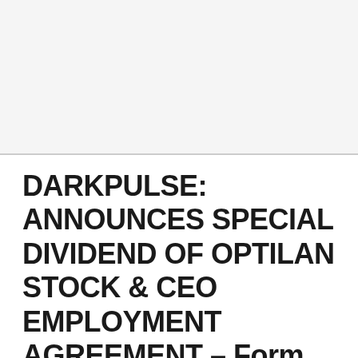DARKPULSE: ANNOUNCES SPECIAL DIVIDEND OF OPTILAN STOCK & CEO EMPLOYMENT AGREEMENT – Form 8-K